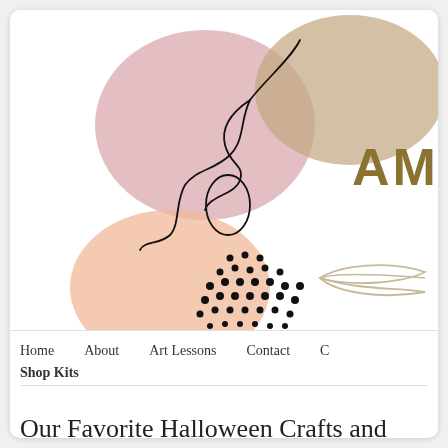[Figure (illustration): Abstract decorative header illustration with pink, tan/olive, and peach organic blob shapes, a black continuous line drawing, black dot pattern, and a beige line-art leaf/feather shape. Text 'AMY' in bold olive/gold on the right side.]
Home
About
Art Lessons
Contact
Shop Kits
Our Favorite Halloween Crafts and